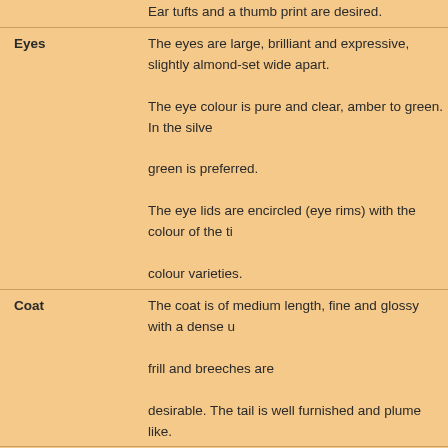Ear tufts and a thumb print are desired.
Eyes
The eyes are large, brilliant and expressive, slightly almond-set wide apart. The eye colour is pure and clear, amber to green. In the silver green is preferred. The eye lids are encircled (eye rims) with the colour of the ticking colour varieties.
Coat
The coat is of medium length, fine and glossy with a dense undercoat. A frill and breeches are desirable. The tail is well furnished and plume like.
Ticking
Double or preferably triple banding on each single hair. The ticking should be extended evenly and without stripes over the entire body. The line along the spine and the tail tip and the plantar side of the hind paws are coloured intensely in the colour of ticking. The chest, belly and